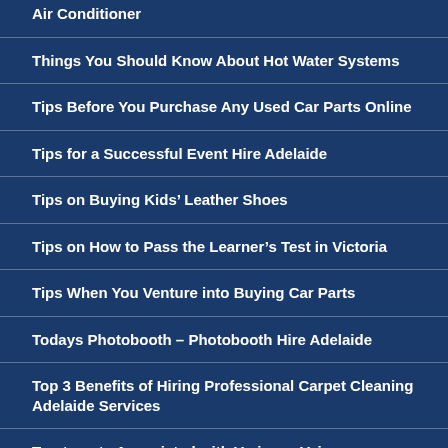Air Conditioner
Things You Should Know About Hot Water Systems
Tips Before You Purchase Any Used Car Parts Online
Tips for a Successful Event Hire Adelaide
Tips on Buying Kids’ Leather Shoes
Tips on How to Pass the Learner’s Test in Victoria
Tips When You Venture into Buying Car Parts
Todays Photobooth – Photobooth Hire Adelaide
Top 3 Benefits of Hiring Professional Carpet Cleaning Adelaide Services
Treatments Associated with Varicose Veins